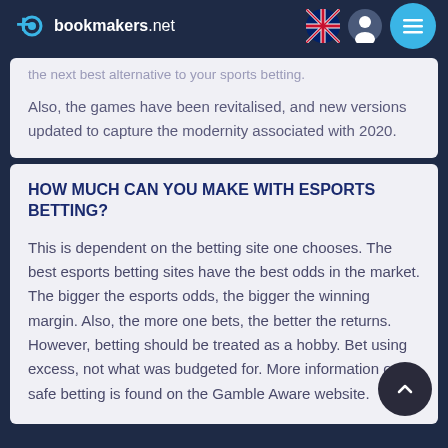bookmakers.net
the next best alternative to your sports betting.
Also, the games have been revitalised, and new versions updated to capture the modernity associated with 2020.
HOW MUCH CAN YOU MAKE WITH ESPORTS BETTING?
This is dependent on the betting site one chooses. The best esports betting sites have the best odds in the market. The bigger the esports odds, the bigger the winning margin. Also, the more one bets, the better the returns. However, betting should be treated as a hobby. Bet using excess, not what was budgeted for. More information on safe betting is found on the Gamble Aware website.